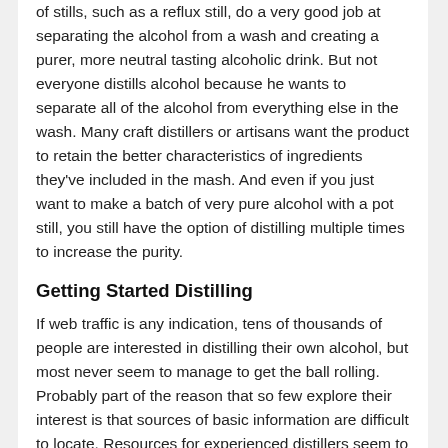of stills, such as a reflux still, do a very good job at separating the alcohol from a wash and creating a purer, more neutral tasting alcoholic drink. But not everyone distills alcohol because he wants to separate all of the alcohol from everything else in the wash. Many craft distillers or artisans want the product to retain the better characteristics of ingredients they've included in the mash. And even if you just want to make a batch of very pure alcohol with a pot still, you still have the option of distilling multiple times to increase the purity.
Getting Started Distilling
If web traffic is any indication, tens of thousands of people are interested in distilling their own alcohol, but most never seem to manage to get the ball rolling. Probably part of the reason that so few explore their interest is that sources of basic information are difficult to locate. Resources for experienced distillers seem to be everywhere, but when beginners access these, they end up confused